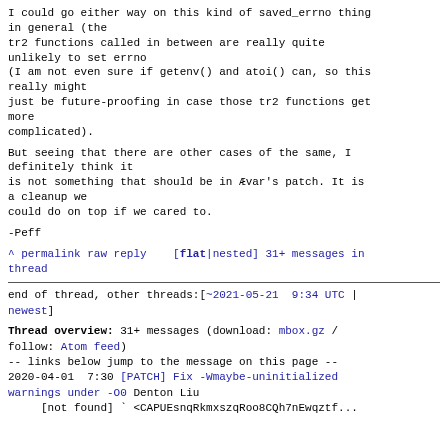I could go either way on this kind of saved_errno thing in general (the
tr2 functions called in between are really quite unlikely to set errno
(I am not even sure if getenv() and atoi() can, so this really might
just be future-proofing in case those tr2 functions get more
complicated).

But seeing that there are other cases of the same, I definitely think it
is not something that should be in Ævar's patch. It is a cleanup we
could do on top if we cared to.

-Peff
^ permalink raw reply   [flat|nested] 31+ messages in thread
end of thread, other threads:[~2021-05-21  9:34 UTC | newest]
Thread overview: 31+ messages (download: mbox.gz / follow: Atom feed)
-- links below jump to the message on this page --
2020-04-01  7:30 [PATCH] Fix -Wmaybe-uninitialized warnings under -O0 Denton Liu
     [not found] ` <CAPUEsnqRkmxszqRoo8CQh7nEwqztf...